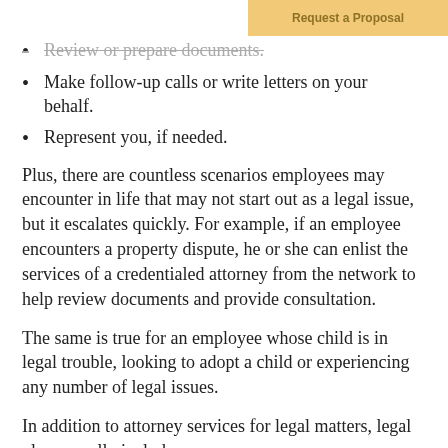Review or prepare documents.
Make follow-up calls or write letters on your behalf.
Represent you, if needed.
Plus, there are countless scenarios employees may encounter in life that may not start out as a legal issue, but it escalates quickly. For example, if an employee encounters a property dispute, he or she can enlist the services of a credentialed attorney from the network to help review documents and provide consultation.
The same is true for an employee whose child is in legal trouble, looking to adopt a child or experiencing any number of legal issues.
In addition to attorney services for legal matters, legal plans usually include:
The ability to create customizable legal documents online and access educational tools and resources.
Additional services to help employees with all facets